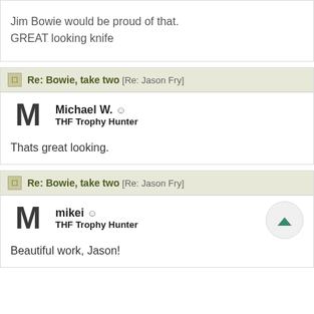Jim Bowie would be proud of that. GREAT looking knife
Re: Bowie, take two [Re: Jason Fry]
Michael W. ☺
THF Trophy Hunter
Thats great looking.
Re: Bowie, take two [Re: Jason Fry]
mikei ☺
THF Trophy Hunter
Beautiful work, Jason!